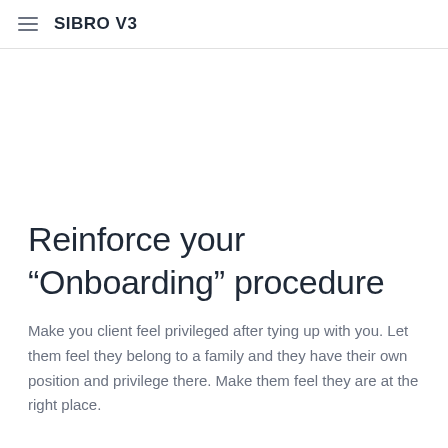SIBRO V3
Reinforce your “Onboarding” procedure
Make you client feel privileged after tying up with you. Let them feel they belong to a family and they have their own position and privilege there. Make them feel they are at the right place.